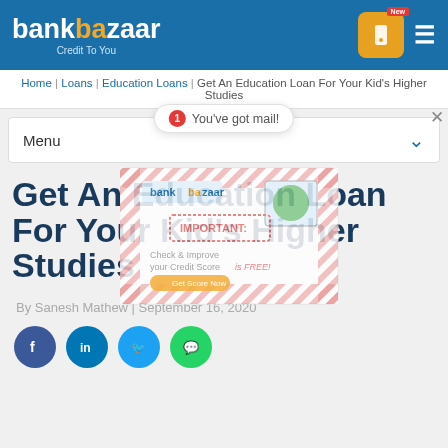bankbazaar Credit To You
Home | Loans | Education Loans | Get An Education Loan For Your Kid's Higher Studies
Menu  You've got mail!
[Figure (illustration): Decorative envelope illustration with bankbazaar branding, credit score imagery, and diagonal stripe pattern]
Get An Education Loan For Your Kid's Higher Studies
By Sanesh Mathew | September 16, 2020
[Figure (infographic): Social share buttons: Facebook (blue circle), LinkedIn (dark blue circle), Twitter (light blue circle), WhatsApp (green circle)]